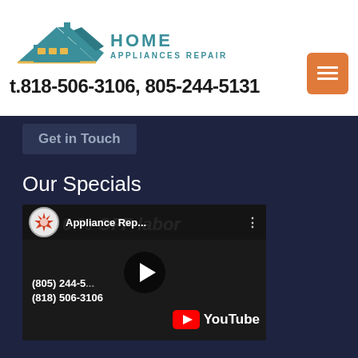[Figure (logo): Home Appliances Repair logo with house/roof graphic in teal and yellow]
t.818-506-3106, 805-244-5131
Get in Touch
Our Specials
[Figure (screenshot): YouTube video thumbnail for Appliance Repair video showing phone numbers (805) 244-5131 and (818) 506-3106 with 20% OFF labor offer and YouTube logo]
Latest Tweets